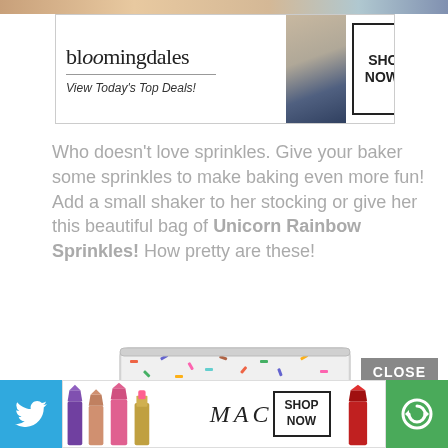[Figure (screenshot): Bloomingdale's banner advertisement with logo, 'View Today's Top Deals!' tagline, model photo, and 'SHOP NOW >' button]
Who doesn't love sprinkles. Give your baker some sprinkles to make baking even more fun! Add a small shaker to her stocking or give her this beautiful bag of Unicorn Rainbow Sprinkles! How pretty are these!
[Figure (photo): Product photo of Unicorn Rainbow Sprinkles bag by Unpretentious Baker, filled with colorful rainbow sprinkles, labeled Net Wt. 1.5 lb]
[Figure (screenshot): MAC cosmetics banner advertisement showing lipsticks, MAC logo, SHOP NOW button, and red lipstick on right. Twitter button on left and refresh button on right.]